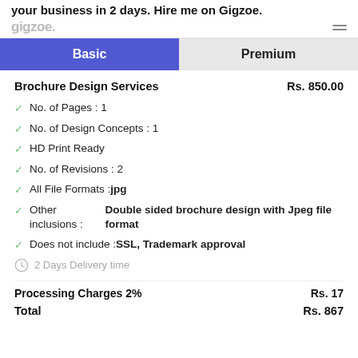your business in 2 days. Hire me on Gigzoe.
[Figure (logo): Gigzoe logo in grey text with hamburger menu icon]
Basic | Premium
Brochure Design Services Rs. 850.00
No. of Pages : 1
No. of Design Concepts : 1
HD Print Ready
No. of Revisions : 2
All File Formats : jpg
Other inclusions : Double sided brochure design with Jpeg file format
Does not include : SSL, Trademark approval
2 Days Delivery time
Processing Charges 2%  Rs. 17
Total  Rs. 867